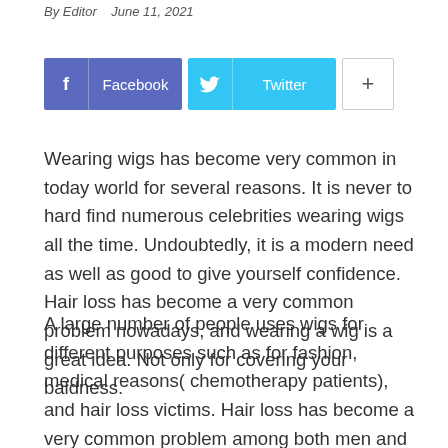By Editor   June 11, 2021
[Figure (infographic): Social sharing buttons: Facebook (purple), Twitter (light blue), and a plus button (white/grey)]
Wearing wigs has become very common in today world for several reasons. It is never to hard find numerous celebrities wearing wigs all the time. Undoubtedly, it is a modern need as well as good to give yourself confidence. Hair loss has become a very common problem nowadays, and wearing a wig is a great idea. Not only for covering your baldness.
A large number of people uses wigs for different purposes such as for fashion, medical reasons( chemotherapy patients), and hair loss victims. Hair loss has become a very common problem among both men and women. Moreover, wigs offer a quick change to your hairstyle. If you are in need of a wig you must know which will suit you best. You can